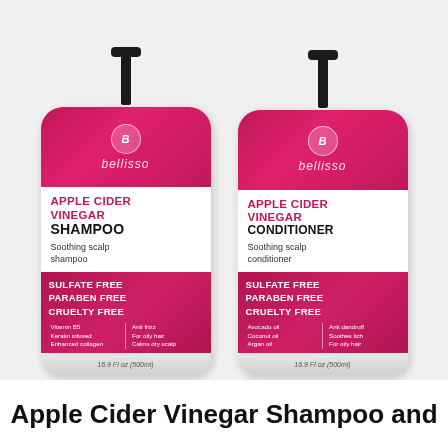[Figure (photo): Two large pump bottles of Bellisso Apple Cider Vinegar Shampoo and Conditioner (16.9 fl oz / 500ml each) with pink and white labels. Both bottles advertise Sulfate Free, Paraben Free, Cruelty Free on the lower pink section.]
Apple Cider Vinegar Shampoo and